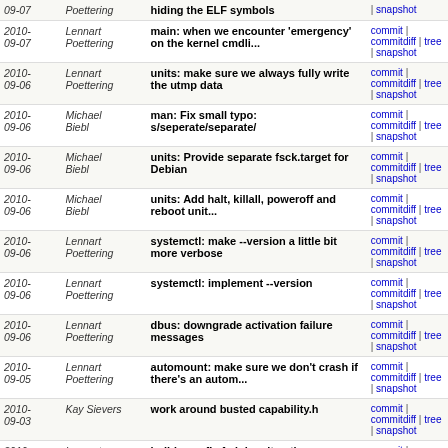| Date | Author | Message | Links |
| --- | --- | --- | --- |
| 2010-09-07 | Lennart Poettering | hiding the ELF symbols | commit | commitdiff | tree | snapshot |
| 2010-09-07 | Lennart Poettering | main: when we encounter 'emergency' on the kernel cmdli... | commit | commitdiff | tree | snapshot |
| 2010-09-06 | Lennart Poettering | units: make sure we always fully write the utmp data | commit | commitdiff | tree | snapshot |
| 2010-09-06 | Michael Biebl | man: Fix small typo: s/seperate/separate/ | commit | commitdiff | tree | snapshot |
| 2010-09-06 | Michael Biebl | units: Provide separate fsck.target for Debian | commit | commitdiff | tree | snapshot |
| 2010-09-06 | Michael Biebl | units: Add halt, killall, poweroff and reboot unit... | commit | commitdiff | tree | snapshot |
| 2010-09-06 | Lennart Poettering | systemctl: make --version a little bit more verbose | commit | commitdiff | tree | snapshot |
| 2010-09-06 | Lennart Poettering | systemctl: implement --version | commit | commitdiff | tree | snapshot |
| 2010-09-06 | Lennart Poettering | dbus: downgrade activation failure messages | commit | commitdiff | tree | snapshot |
| 2010-09-05 | Lennart Poettering | automount: make sure we don't crash if there's an autom... | commit | commitdiff | tree | snapshot |
| 2010-09-03 | Kay Sievers | work around busted capability.h | commit | commitdiff | tree | snapshot |
| 2010-09-03 | Lennart Poettering | build-sys: fix fedpkg git path | commit | commitdiff | tree | snapshot |
| 2010-09-03 | Lennart Poettering | build-sys: prepare new release [v9] | commit | commitdiff | tree | snapshot |